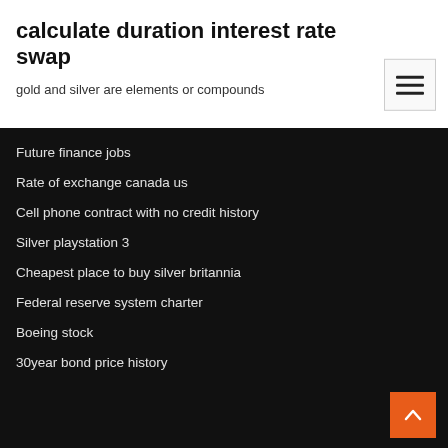calculate duration interest rate swap
gold and silver are elements or compounds
Future finance jobs
Rate of exchange canada us
Cell phone contract with no credit history
Silver playstation 3
Cheapest place to buy silver britannia
Federal reserve system charter
Boeing stock
30year bond price history